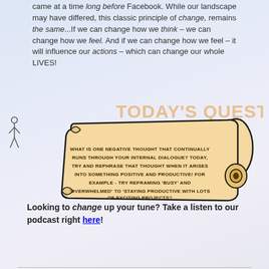came at a time long before Facebook. While our landscape may have differed, this classic principle of change, remains the same...If we can change how we think – we can change how we feel. And if we can change how we feel – it will influence our actions – which can change our whole LIVES!
[Figure (illustration): A scroll illustration with 'TODAY'S QUEST' title in orange/tan letters, and body text inside the scroll reading: WHAT IS ONE NEGATIVE THOUGHT THAT CONTINUALLY RUNS THROUGH YOUR INTERNAL DIALOGUE? TODAY, TRY AND REPHRASE THAT THOUGHT WHEN IT ARISES INTO SOMETHING POSITIVE AND PRODUCTIVE! FOR EXAMPLE - TRY REFRAMING 'BUSY' AND 'OVERWHELMED' TO 'STAYING PRODUCTIVE WITH LOTS OF EXCITING PROJECTS'!]
Looking to change up your tune? Take a listen to our podcast right here!